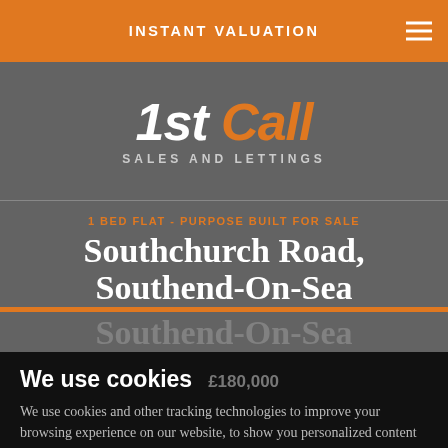INSTANT VALUATION
[Figure (logo): 1st Call Sales and Lettings logo — stylized text with orange 'Call' and white '1st', subtitle 'SALES AND LETTINGS']
1 BED FLAT - PURPOSE BUILT FOR SALE
Southchurch Road, Southend-On-Sea
We use cookies
£180,000
We use cookies and other tracking technologies to improve your browsing experience on our website, to show you personalized content and targeted ads, to analyze our website traffic, and to understand where our visitors are coming from.